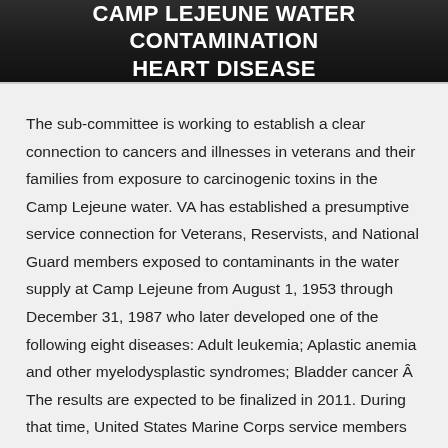CAMP LEJEUNE WATER CONTAMINATION HEART DISEASE
The sub-committee is working to establish a clear connection to cancers and illnesses in veterans and their families from exposure to carcinogenic toxins in the Camp Lejeune water. VA has established a presumptive service connection for Veterans, Reservists, and National Guard members exposed to contaminants in the water supply at Camp Lejeune from August 1, 1953 through December 31, 1987 who later developed one of the following eight diseases: Adult leukemia; Aplastic anemia and other myelodysplastic syndromes; Bladder cancer Â The results are expected to be finalized in 2011. During that time, United States Marine Corps service members and their families living at the base bathed in and